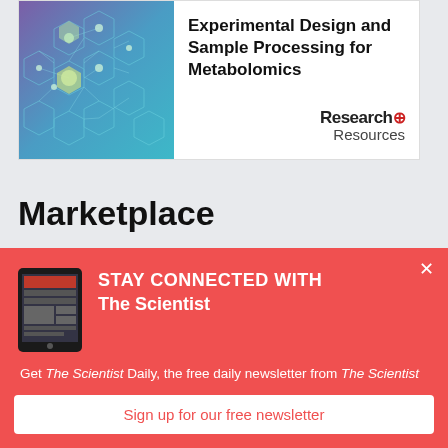[Figure (illustration): Science/biology themed image with hexagonal molecule network on blue/purple gradient background]
Experimental Design and Sample Processing for Metabolomics
[Figure (logo): Research+ Resources logo]
Marketplace
[Figure (photo): Tablet device showing The Scientist magazine app]
STAY CONNECTED WITH The Scientist
Get The Scientist Daily, the free daily newsletter from The Scientist
Sign up for our free newsletter